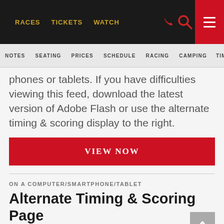RACES   TICKETS   WATCH
NOTES   SEATING   PRICES   SCHEDULE   RACING   CAMPING   TIM
phones or tablets. If you have difficulties viewing this feed, download the latest version of Adobe Flash or use the alternate timing & scoring display to the right.
VIEW NOW
ON A COMPUTER/SMARTPHONE/TABLET
Alternate Timing & Scoring Page
FREE SERVICE